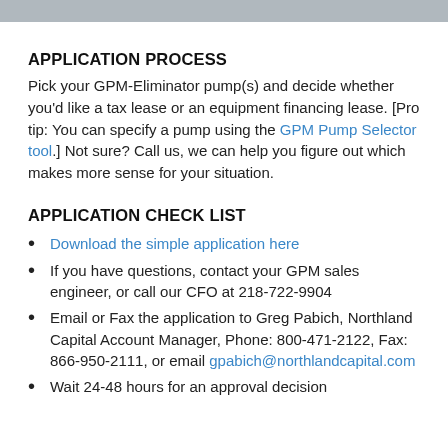APPLICATION PROCESS
Pick your GPM-Eliminator pump(s) and decide whether you'd like a tax lease or an equipment financing lease. [Pro tip: You can specify a pump using the GPM Pump Selector tool.] Not sure? Call us, we can help you figure out which makes more sense for your situation.
APPLICATION CHECK LIST
Download the simple application here
If you have questions, contact your GPM sales engineer, or call our CFO at 218-722-9904
Email or Fax the application to Greg Pabich, Northland Capital Account Manager, Phone: 800-471-2122, Fax: 866-950-2111, or email gpabich@northlandcapital.com
Wait 24-48 hours for an approval decision